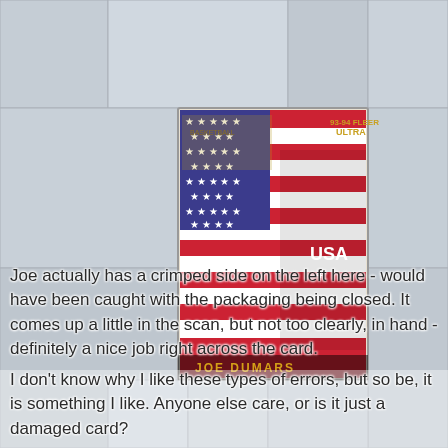[Figure (photo): Collage background of sports trading cards (baseball, basketball, hockey) with a prominent Joe Dumars 93-94 Fleer Ultra USA Basketball trading card in the center. The card shows Joe Dumars wearing a USA #4 jersey in front of an American flag, with 'JOE DUMARS' text at the bottom of the card in gold letters.]
Joe actually has a crimped side on the left here - would have been caught with the packaging being closed. It comes up a little in the scan, but not too clearly, in hand - definitely a nice job right across the card.
I don't know why I like these types of errors, but so be, it is something I like. Anyone else care, or is it just a damaged card?